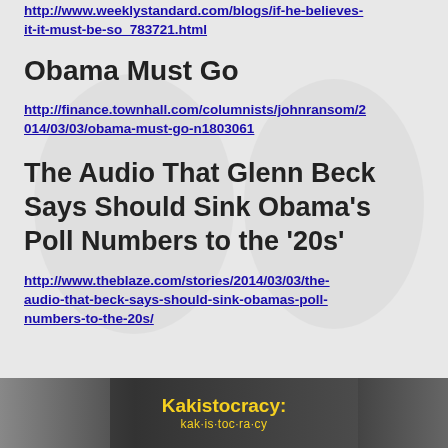http://www.weeklystandard.com/blogs/if-he-believes-it-it-must-be-so_783721.html
Obama Must Go
http://finance.townhall.com/columnists/johnransom/2014/03/03/obama-must-go-n1803061
The Audio That Glenn Beck Says Should Sink Obama's Poll Numbers to the '20s'
http://www.theblaze.com/stories/2014/03/03/the-audio-that-beck-says-should-sink-obamas-poll-numbers-to-the-20s/
[Figure (photo): Image strip at bottom showing two faces and a yellow text overlay reading 'Kakistocracy: kak·is·toc·ra·cy']